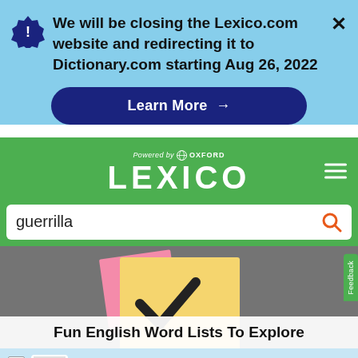We will be closing the Lexico.com website and redirecting it to Dictionary.com starting Aug 26, 2022
Learn More →
[Figure (screenshot): Lexico powered by Oxford logo and wordmark on green background with hamburger menu]
guerrilla
[Figure (photo): Colorful sticky notes with a checkmark on a grey textured background]
Fun English Word Lists To Explore
Ad  Tally: PayOff Debt Faster  Tally Technologies, Inc.  Download